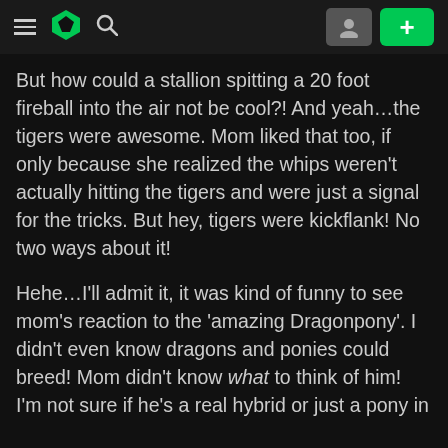Navigation bar with hamburger menu, DeviantArt logo, search icon, user button, and add button
But how could a stallion spitting a 20 foot fireball into the air not be cool?! And yeah…the tigers were awesome. Mom liked that too, if only because she realized the whips weren't actually hitting the tigers and were just a signal for the tricks. But hey, tigers were kickflank! No two ways about it!
Hehe…I'll admit it, it was kind of funny to see mom's reaction to the 'amazing Dragonpony'. I didn't even know dragons and ponies could breed! Mom didn't know what to think of him! I'm not sure if he's a real hybrid or just a pony in